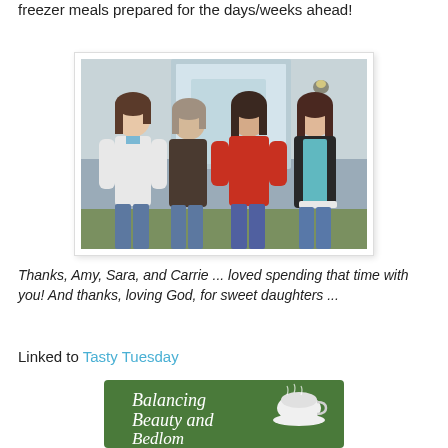freezer meals prepared for the days/weeks ahead!
[Figure (photo): Four women standing together smiling in front of a house door, wearing casual clothes. From left: woman in white top and jeans, woman in dark top, woman in red top, woman in black cardigan with teal top.]
Thanks, Amy, Sara, and Carrie ... loved spending that time with you! And thanks, loving God, for sweet daughters ...
Linked to Tasty Tuesday
[Figure (logo): Balancing Beauty and Bedlam blog banner — green background with cursive script text and a tea cup illustration]